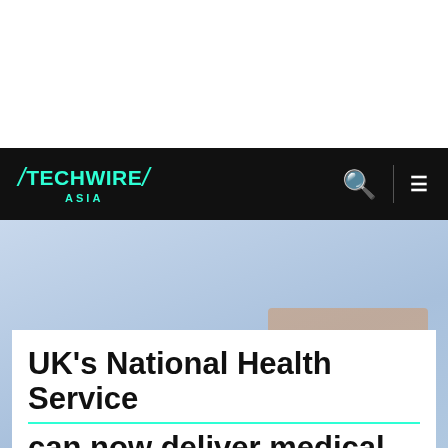TECHWIRE ASIA
[Figure (photo): Blue sky background with partial view of a person holding a drone, hero image for article about NHS drone delivery]
UK's National Health Service can now deliver medical supplies with drones